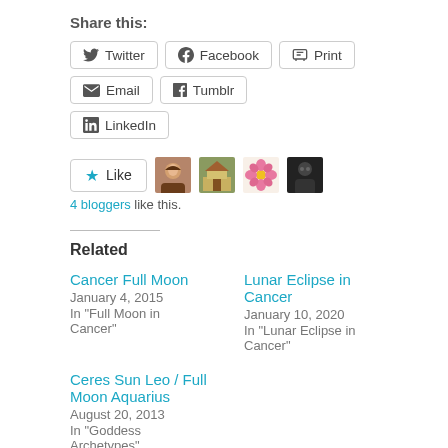Share this:
Twitter
Facebook
Print
Email
Tumblr
LinkedIn
[Figure (other): Like button with star icon and 4 blogger avatar thumbnails]
4 bloggers like this.
Related
Cancer Full Moon
January 4, 2015
In "Full Moon in Cancer"
Lunar Eclipse in Cancer
January 10, 2020
In "Lunar Eclipse in Cancer"
Ceres Sun Leo / Full Moon Aquarius
August 20, 2013
In "Goddess Archetypes"